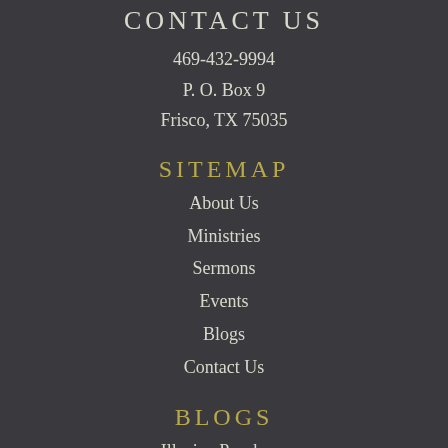CONTACT US
469-432-9994
P. O. Box 9
Frisco, TX 75035
SITEMAP
About Us
Ministries
Sermons
Events
Blogs
Contact Us
BLOGS
Illusive Prophecy